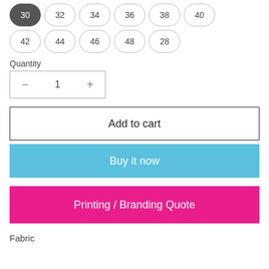30 (selected), 32, 34, 36, 38, 40
42, 44, 46, 48, 28
Quantity
− 1 +
Add to cart
Buy it now
Printing / Branding Quote
Fabric